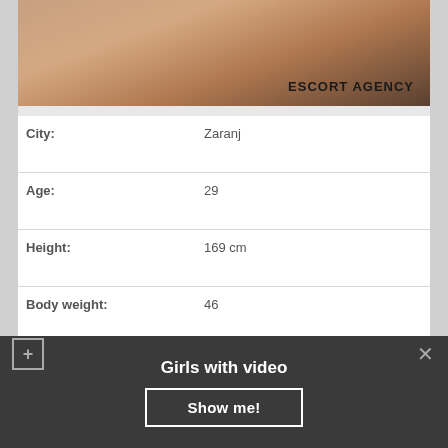[Figure (photo): Photo of hands and feet on a dark background with text ESCORT AGENCY overlaid]
| City: | Zaranj |
| Age: | 29 |
| Height: | 169 cm |
| Body weight: | 46 |
| Available: | 10:00 – 21:00 |
| Threesome with lesbians: | +50$ |
| Sex services: | Massage, Massage, Travel |
Girls with video
Show me!